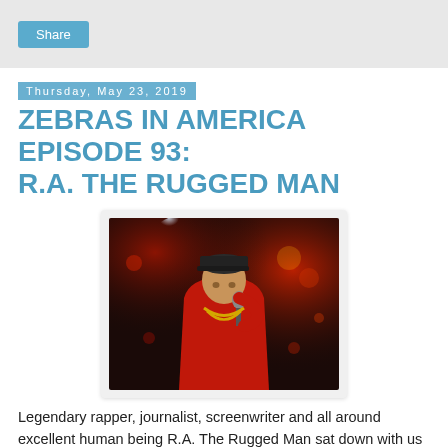Share
Thursday, May 23, 2019
ZEBRAS IN AMERICA EPISODE 93: R.A. THE RUGGED MAN
[Figure (photo): A performer in a red jacket and dark cap holding a microphone on a stage lit with red and blue lights, wearing a gold chain necklace.]
Legendary rapper, journalist, screenwriter and all around excellent human being R.A. The Rugged Man sat down with us on Mother's Day to talk about everything from Frank